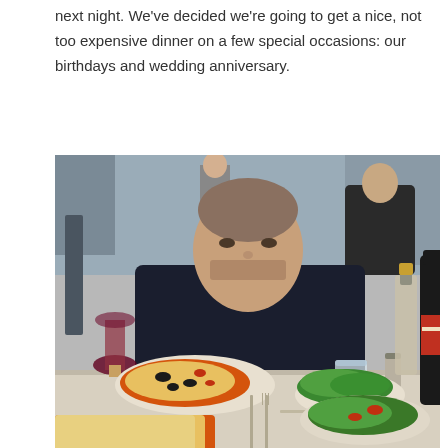next night. We've decided we're going to get a nice, not too expensive dinner on a few special occasions: our birthdays and wedding anniversary.
[Figure (photo): A man in a dark navy sweater sitting at an outdoor restaurant table with pizza slices on plates, a glass of red wine, a salad, oil/vinegar bottles, and cutlery visible on the table.]